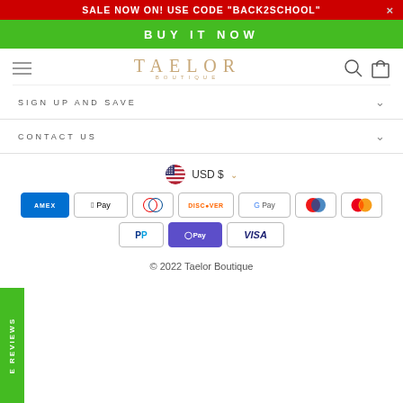SALE NOW ON! USE CODE "BACK2SCHOOL"
BUY IT NOW
[Figure (logo): TAELOR BOUTIQUE logo in gold serif letters with hamburger menu, search and shopping bag icons]
SIGN UP AND SAVE
CONTACT US
USD $
[Figure (infographic): Payment method icons: Amex, Apple Pay, Diners, Discover, Google Pay, Maestro, Mastercard, PayPal, O Pay, Visa]
© 2022 Taelor Boutique